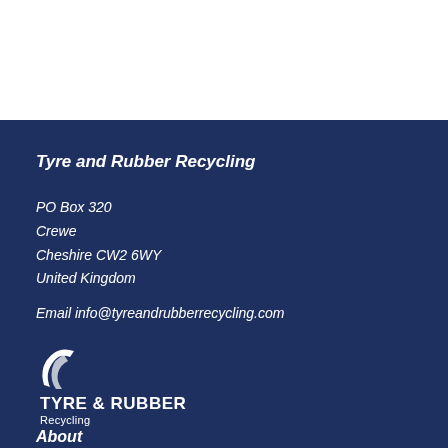Tyre and Rubber Recycling
PO Box 320
Crewe
Cheshire CW2 6WY
United Kingdom
Email info@tyreandrubberrecycling.com
[Figure (logo): Tyre & Rubber Recycling logo with white swoosh/tyre icon and bold text 'TYRE & RUBBER Recycling' on dark blue background]
About